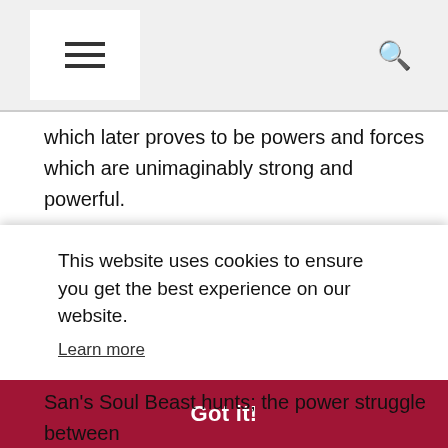Navigation header with hamburger menu and search icon
which later proves to be powers and forces which are unimaginably strong and powerful.
When we started watching Douluo Continent (Chinese: 斗罗大陆; Pinyin: Douluo Dalu), we thought maybe this could be the first Xiao Zhan drama we might find hard to complete. There were so many details and unfamiliar elements to
onto on to n it, ually ang Tang San's Soul Beast hunts; the power struggle between
This website uses cookies to ensure you get the best experience on our website.
Learn more
Got it!